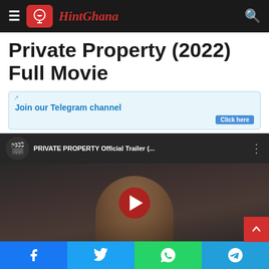HintGhana
Private Property (2022) Full Movie
Join our Telegram channel  Click here
[Figure (screenshot): YouTube video embed showing 'PRIVATE PROPERTY Official Trailer (...' with a blond woman visible in the thumbnail and a red play button in the center.]
Facebook  Twitter  WhatsApp  Telegram